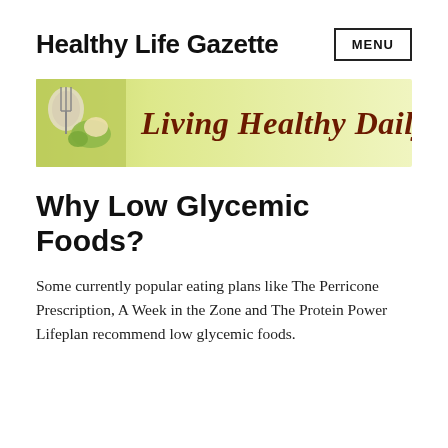Healthy Life Gazette
[Figure (illustration): Green banner with food image on left and italic text 'Living Healthy Daily' in dark red/brown on a light green gradient background]
Why Low Glycemic Foods?
Some currently popular eating plans like The Perricone Prescription, A Week in the Zone and The Protein Power Lifeplan recommend low glycemic foods.